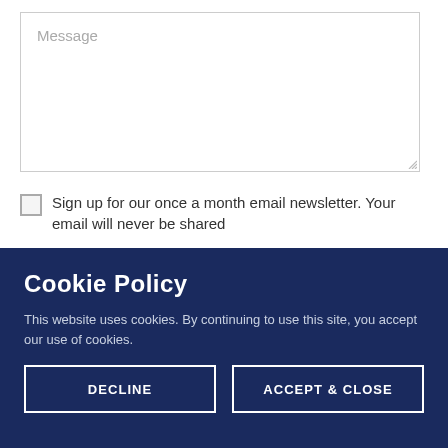[Figure (screenshot): Message textarea input field with placeholder text 'Message' and a resize handle at bottom right]
Sign up for our once a month email newsletter. Your email will never be shared
Cookie Policy
This website uses cookies. By continuing to use this site, you accept our use of cookies.
DECLINE
ACCEPT & CLOSE